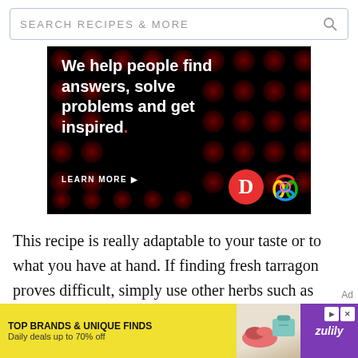[Figure (screenshot): Search bar with text SEARCH RECIPES & MORE and a magnifying glass icon on the right]
[Figure (infographic): Advertisement banner with black background, dark red dot pattern, white bold text: We help people find answers, solve problems and get inspired. LEARN MORE arrow button. Red circle D logo and colorful knot logo at bottom right.]
This recipe is really adaptable to your taste or to what you have at hand. If finding fresh tarragon proves difficult, simply use other herbs such as
[Figure (infographic): Bottom advertisement banner: yellow background with TOP BRANDS & UNIQUE FINDS in bold, Daily deals up to 70% off, shoe and bag product images, Zulily logo on purple background. Play and X buttons top right.]